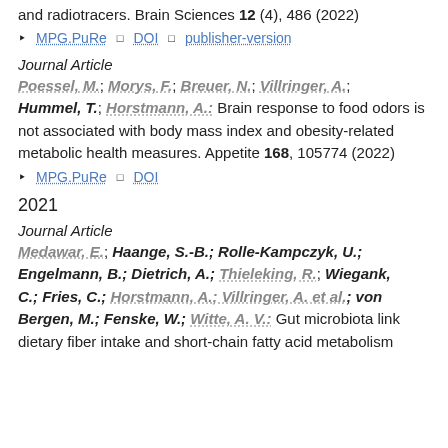and radiotracers. Brain Sciences 12 (4), 486 (2022)
MPG.PuRe | DOI | publisher-version
Journal Article
Poessel, M.; Morys, F.; Breuer, N.; Villringer, A.; Hummel, T.; Horstmann, A.: Brain response to food odors is not associated with body mass index and obesity-related metabolic health measures. Appetite 168, 105774 (2022)
MPG.PuRe | DOI
2021
Journal Article
Medawar, E.; Haange, S.-B.; Rolle-Kampczyk, U.; Engelmann, B.; Dietrich, A.; Thieleking, R.; Wiegank, C.; Fries, C.; Horstmann, A.; Villringer, A. et al.; von Bergen, M.; Fenske, W.: Gut microbiota link dietary fiber intake and short-chain fatty acid metabolism